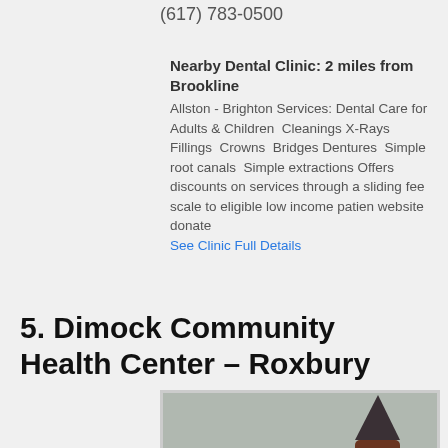(617) 783-0500
Nearby Dental Clinic: 2 miles from Brookline
Allston - Brighton Services: Dental Care for Adults & Children  Cleanings  X-Rays  Fillings  Crowns  Bridges  Dentures  Simple root canals  Simple extractions Offers discounts on services through a sliding fee scale to eligible low income patien website donate
See Clinic Full Details
5. Dimock Community Health Center - Roxbury
[Figure (photo): Photograph of a large Victorian-era brick building with a pointed turret, identified as Dimock Community Health Center in Roxbury.]